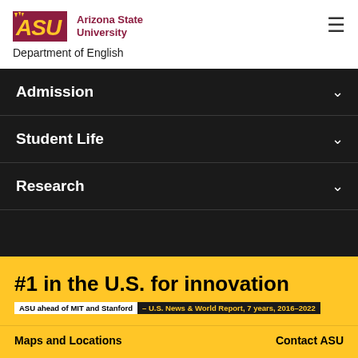Arizona State University — Department of English
Admission
Student Life
Research
#1 in the U.S. for innovation
ASU ahead of MIT and Stanford — U.S. News & World Report, 7 years, 2016–2022
Maps and Locations
Contact ASU